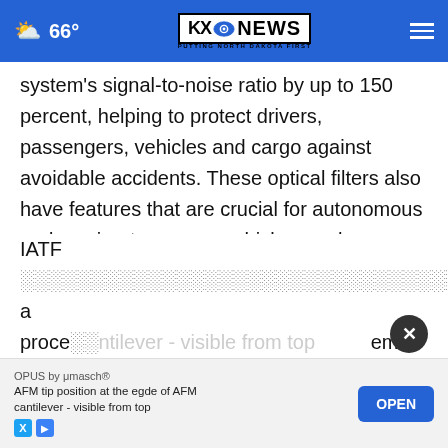66° KXO NEWS PUTTING NORTH DAKOTA FIRST
system's signal-to-noise ratio by up to 150 percent, helping to protect drivers, passengers, vehicles and cargo against avoidable accidents. These optical filters also have features that are crucial for autonomous and semi-autonomous vehicles, such as a square bandpass to maximize accuracy. For more information about VIAVI optical filters, read the white paper: Optical Filters for LiDAR Systems.
IATF ... f a proce... em